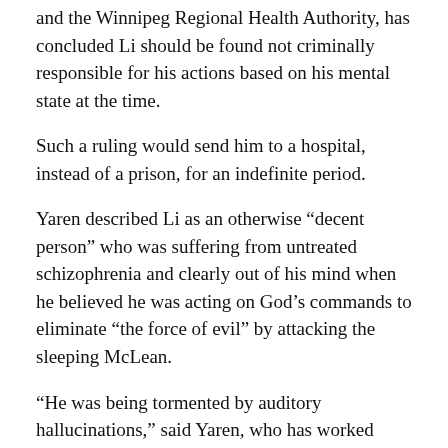and the Winnipeg Regional Health Authority, has concluded Li should be found not criminally responsible for his actions based on his mental state at the time.
Such a ruling would send him to a hospital, instead of a prison, for an indefinite period.
Yaren described Li as an otherwise “decent person” who was suffering from untreated schizophrenia and clearly out of his mind when he believed he was acting on God’s commands to eliminate “the force of evil” by attacking the sleeping McLean.
“He was being tormented by auditory hallucinations,” said Yaren, who has worked closely with Li at the Health Sciences Centre psychiatric ward in Winnipeg since he arrived last August.